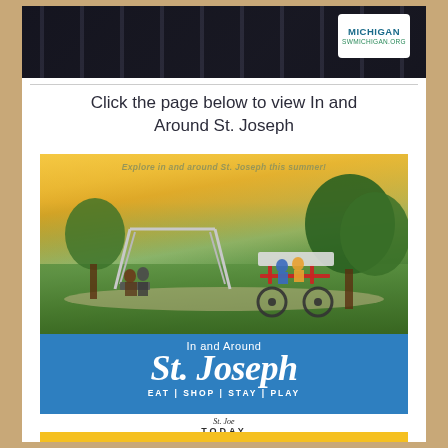[Figure (photo): Dark photo of piano keys or metal pipes at top of card]
[Figure (logo): Southwest Michigan badge/logo with text MICHIGAN and swmichigan.org]
Click the page below to view In and Around St. Joseph
[Figure (photo): Brochure cover showing outdoor park scene with swing set and people riding a surrey bike at sunset, blue section below reading In and Around St. Joseph with EAT | SHOP | STAY | PLAY tagline and St. Joe Today logo]